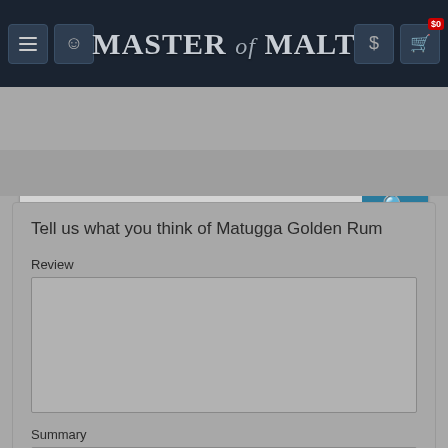Master of Malt — navigation header with menu, account, dollar, and cart icons
[Figure (screenshot): Master of Malt website header with navigation bar showing hamburger menu, user icon, logo 'MASTER of MALT', dollar sign icon, shopping cart icon with $0 badge, and a search bar with 'Enter search term...' placeholder and a teal search button]
Tell us what you think of Matugga Golden Rum
Review
Summary
Rating: None